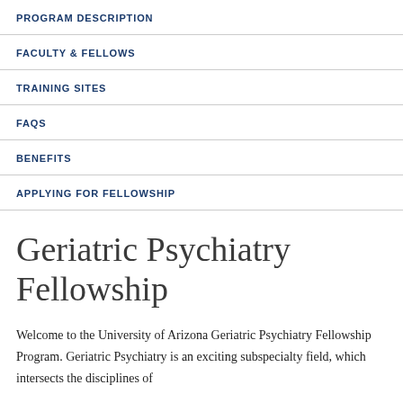PROGRAM DESCRIPTION
FACULTY & FELLOWS
TRAINING SITES
FAQS
BENEFITS
APPLYING FOR FELLOWSHIP
Geriatric Psychiatry Fellowship
Welcome to the University of Arizona Geriatric Psychiatry Fellowship Program. Geriatric Psychiatry is an exciting subspecialty field, which intersects the disciplines of